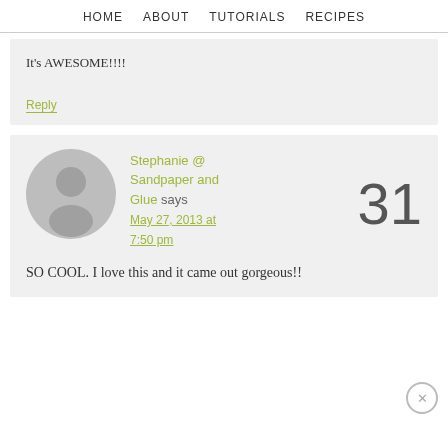HOME   ABOUT   TUTORIALS   RECIPES
It's AWESOME!!!!
Reply
[Figure (illustration): Gray circular avatar icon with a silhouette person placeholder]
Stephanie @ Sandpaper and Glue says May 27, 2013 at 7:50 pm
31
SO COOL. I love this and it came out gorgeous!!